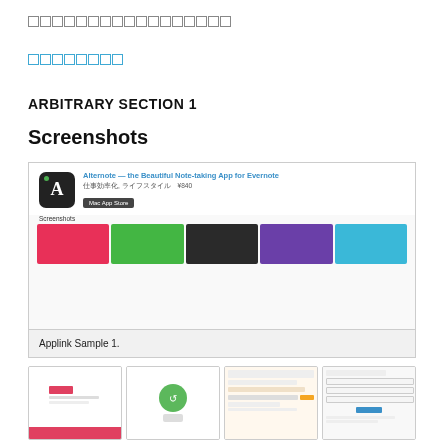□□□□□□□□□□□□□□□□□
□□□□□□□□
ARBITRARY SECTION 1
Screenshots
[Figure (screenshot): Mac App Store listing for Alternote — the Beautiful Note-taking App for Evernote. Shows app icon, title, subtitle '仕事効率化, ライフスタイル ¥840', Mac App Store button, and 5 colorful screenshots.]
Applink Sample 1.
[Figure (screenshot): Row of 4 small app screenshots at the bottom of the page.]